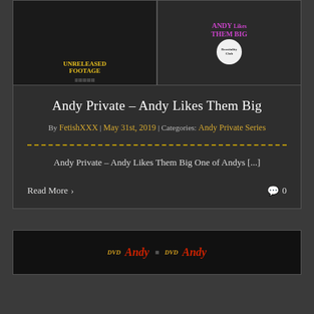[Figure (photo): DVD cover image for 'Andy Private - Andy Likes Them Big', showing two panels side by side. Left panel shows 'Unreleased Footage' text in yellow. Right panel shows 'Andy Likes Them Big' branding.]
Andy Private – Andy Likes Them Big
By FetishXXX | May 31st, 2019 | Categories: Andy Private Series
Andy Private – Andy Likes Them Big One of Andys [...]
Read More
0
[Figure (photo): Bottom DVD cover image showing 'Andy' title in red italic text with DVD logo, partially visible at bottom of page.]